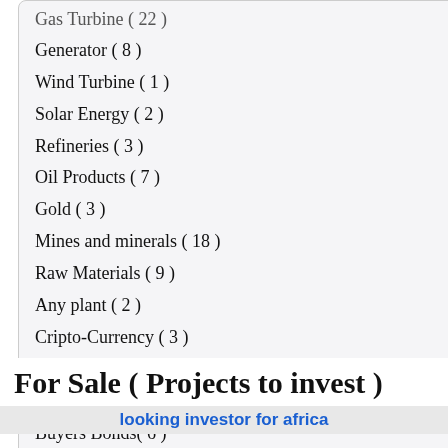Gas Turbine ( 22 )
Generator ( 8 )
Wind Turbine ( 1 )
Solar Energy ( 2 )
Refineries ( 3 )
Oil Products ( 7 )
Gold ( 3 )
Mines and minerals ( 18 )
Raw Materials ( 9 )
Any plant ( 2 )
Cripto-Currency ( 3 )
German Bonds( 14 )
Historical Bonds( 17 )
Buyers Bonds( 6 )
Food ( 0 )
Other ( 2 )
For Sale ( Projects to invest )
looking investor for africa